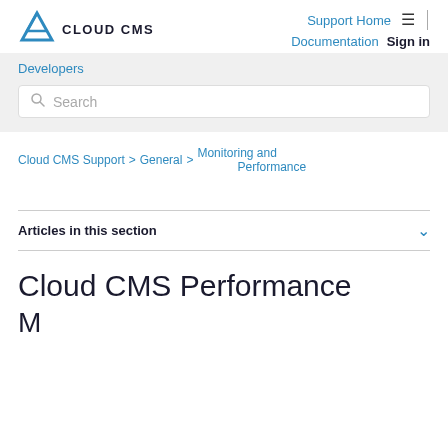Cloud CMS | Support Home | Documentation | Sign in | Developers
Search
Cloud CMS Support > General > Monitoring and Performance
Articles in this section
Cloud CMS Performance
M...